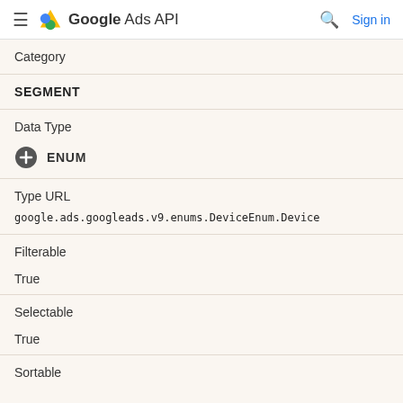Google Ads API — Sign in
| Field | Value |
| --- | --- |
| Category | SEGMENT |
| Data Type | ENUM |
| Type URL | google.ads.googleads.v9.enums.DeviceEnum.Device |
| Filterable | True |
| Selectable | True |
| Sortable |  |